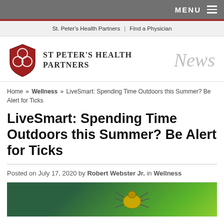MENU
St. Peter's Health Partners | Find a Physician
[Figure (logo): St Peter's Health Partners logo with triquetra shield in red/dark red and organization name beside it, with cursive 'News' text in light gray]
Home » Wellness » LiveSmart: Spending Time Outdoors this Summer? Be Alert for Ticks
LiveSmart: Spending Time Outdoors this Summer? Be Alert for Ticks
Posted on July 17, 2020 by Robert Webster Jr. in Wellness
[Figure (photo): Close-up photo of a tick on a green leaf background]